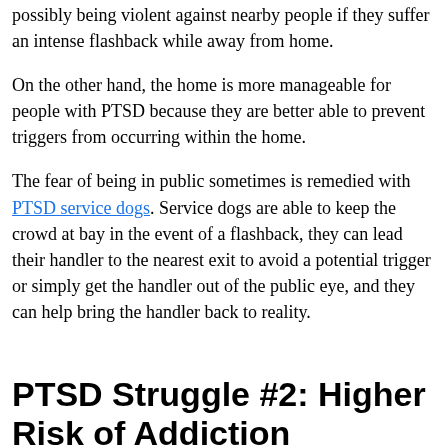People with PTSD also worry about being in public and possibly being violent against nearby people if they suffer an intense flashback while away from home.
On the other hand, the home is more manageable for people with PTSD because they are better able to prevent triggers from occurring within the home.
The fear of being in public sometimes is remedied with PTSD service dogs. Service dogs are able to keep the crowd at bay in the event of a flashback, they can lead their handler to the nearest exit to avoid a potential trigger or simply get the handler out of the public eye, and they can help bring the handler back to reality.
PTSD Struggle #2: Higher Risk of Addiction